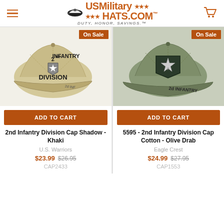USMilitary Hats.com — DUTY, HONOR, SAVINGS.™
[Figure (photo): Khaki 2nd Infantry Division Cap Shadow with embroidered logo and '2d INF' text on brim, On Sale badge]
ADD TO CART
2nd Infantry Division Cap Shadow - Khaki
U.S. Warriors
$23.99  $26.95
CAP2433
[Figure (photo): Olive Drab 2nd Infantry Division Cap Cotton with shield patch emblem and '2d INFANTRY' text on brim, On Sale badge]
ADD TO CART
5595 - 2nd Infantry Division Cap Cotton - Olive Drab
Eagle Crest
$24.99  $27.95
CAP1553